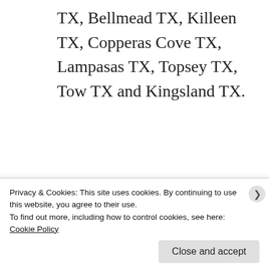TX, Bellmead TX, Killeen TX, Copperas Cove TX, Lampasas TX, Topsey TX, Tow TX and Kingsland TX.
Sponsored Content
Privacy & Cookies: This site uses cookies. By continuing to use this website, you agree to their use.
To find out more, including how to control cookies, see here: Cookie Policy
Close and accept